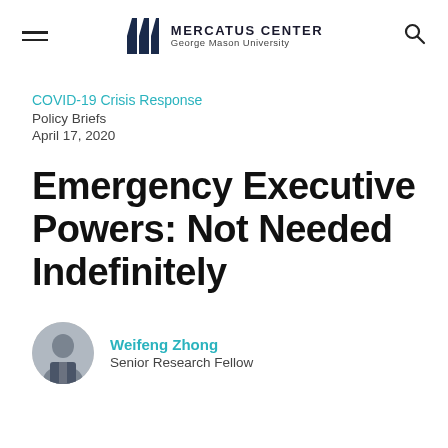Mercatus Center George Mason University
COVID-19 Crisis Response
Policy Briefs
April 17, 2020
Emergency Executive Powers: Not Needed Indefinitely
Weifeng Zhong
Senior Research Fellow